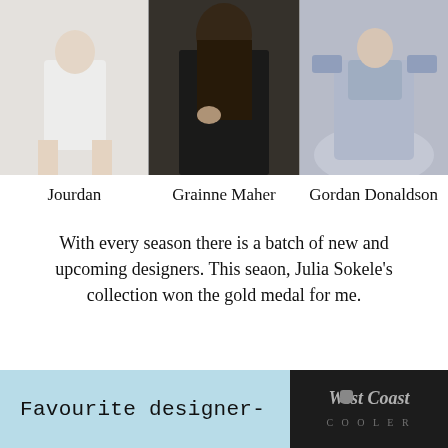[Figure (photo): Three fashion photos side by side: left shows a model in a white dress, center shows a woman in black (Grainne Maher, designer), right shows a model in a light blue/lavender tulle gown.]
Jourdan    Grainne Maher    Gordan Donaldson
With every season there is a batch of new and upcoming designers. This seaon, Julia Sokele's collection won the gold medal for me.
[Figure (illustration): Light blue banner with text 'Favourite designer-' on left and a dark box with 'West Coast' logo on right.]